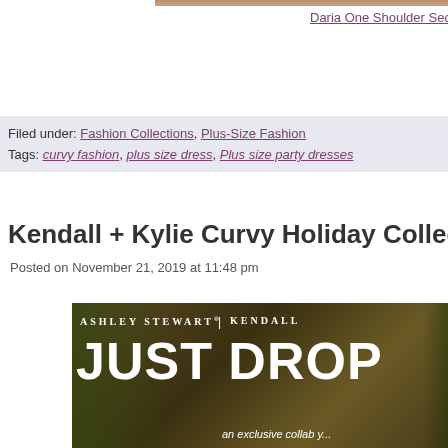[Figure (photo): Top cropped image of a person wearing a sequin dress]
Daria One Shoulder Sequin Mini Dress – Gabrielle U...
Filed under: Fashion Collections, Plus-Size Fashion
Tags: curvy fashion, plus size dress, Plus size party dresses
Kendall + Kylie Curvy Holiday Collection
Posted on November 21, 2019 at 11:48 pm
[Figure (photo): Ashley Stewart | Kendall promotional image with text JUST DROP and 'an exclusive collab y...' on a foliage background]